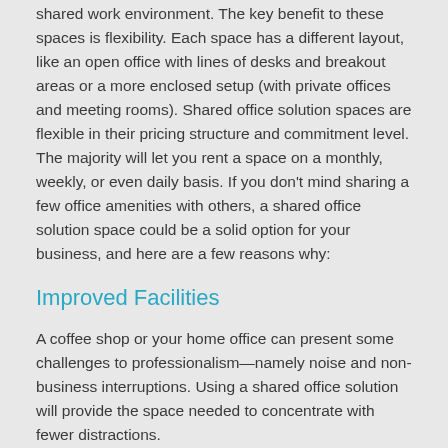shared work environment. The key benefit to these spaces is flexibility. Each space has a different layout, like an open office with lines of desks and breakout areas or a more enclosed setup (with private offices and meeting rooms). Shared office solution spaces are flexible in their pricing structure and commitment level. The majority will let you rent a space on a monthly, weekly, or even daily basis. If you don't mind sharing a few office amenities with others, a shared office solution space could be a solid option for your business, and here are a few reasons why:
Improved Facilities
A coffee shop or your home office can present some challenges to professionalism—namely noise and non-business interruptions. Using a shared office solution will provide the space needed to concentrate with fewer distractions.
A Cost-Effective Solution
A traditional office space rental can be the solution your startup needs, but they generally require a long-term financial commitment. However, a shared office solution for...